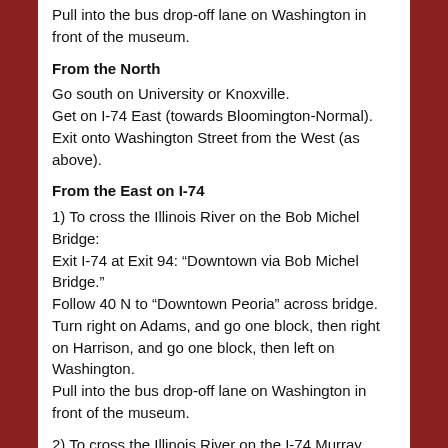Pull into the bus drop-off lane on Washington in front of the museum.
From the North
Go south on University or Knoxville.
Get on I-74 East (towards Bloomington-Normal).
Exit onto Washington Street from the West (as above).
From the East on I-74
1) To cross the Illinois River on the Bob Michel Bridge:
Exit I-74 at Exit 94: “Downtown via Bob Michel Bridge.”
Follow 40 N to “Downtown Peoria” across bridge.
Turn right on Adams, and go one block, then right on Harrison, and go one block, then left on Washington.
Pull into the bus drop-off lane on Washington in front of the museum.
2) To cross the Illinois River on the I-74 Murray Baker Bridge:
Stay on I-74 across the river and take the first exit – Exit 93 to “Downtown.”
Go straight through the first light to Jefferson.
Turn left on Jefferson and proceed through the downtown to Harrison.